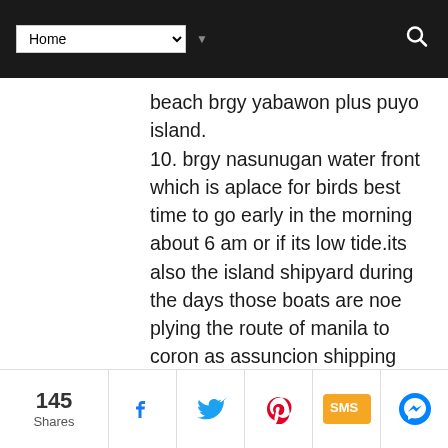Home [dropdown] [search]
beach brgy yabawon plus puyo island.
10. brgy nasunugan water front which is aplace for birds best time to go early in the morning about 6 am or if its low tide.its also the island shipyard during the days those boats are noe plying the route of manila to coron as assuncion shipping lines, thier ships are built in nasunugan and yabawon,
11.brgy balogo beach not fine
145 Shares | Facebook | Twitter | Pinterest | SMS | Messenger